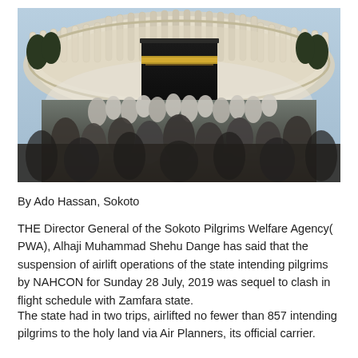[Figure (photo): Aerial/ground view of the Kaaba at Masjid al-Haram in Mecca, surrounded by pilgrims in white and dark clothing, with the ornate white arched colonnades of the mosque visible in the background and blue sky above.]
By Ado Hassan, Sokoto
THE Director General of the Sokoto Pilgrims Welfare Agency(PWA), Alhaji Muhammad Shehu Dange has said that the suspension of airlift operations of the state intending pilgrims by NAHCON for Sunday 28 July, 2019 was sequel to clash in flight schedule with Zamfara state.
The state had in two trips, airlifted no fewer than 857 intending pilgrims to the holy land via Air Planners, its official carrier.